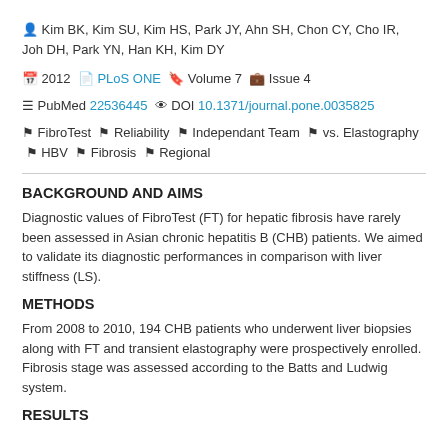Kim BK, Kim SU, Kim HS, Park JY, Ahn SH, Chon CY, Cho IR, Joh DH, Park YN, Han KH, Kim DY
2012  PLoS ONE  Volume 7  Issue 4
PubMed 22536445  DOI 10.1371/journal.pone.0035825
FibroTest  Reliability  Independant Team  vs. Elastography  HBV  Fibrosis  Regional
BACKGROUND AND AIMS
Diagnostic values of FibroTest (FT) for hepatic fibrosis have rarely been assessed in Asian chronic hepatitis B (CHB) patients. We aimed to validate its diagnostic performances in comparison with liver stiffness (LS).
METHODS
From 2008 to 2010, 194 CHB patients who underwent liver biopsies along with FT and transient elastography were prospectively enrolled. Fibrosis stage was assessed according to the Batts and Ludwig system.
RESULTS